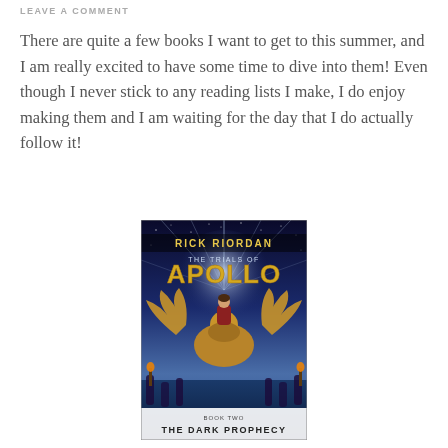LEAVE A COMMENT
There are quite a few books I want to get to this summer, and I am really excited to have some time to dive into them! Even though I never stick to any reading lists I make, I do enjoy making them and I am waiting for the day that I do actually follow it!
[Figure (illustration): Book cover of 'The Trials of Apollo: The Dark Prophecy' Book Two by Rick Riordan, featuring a figure riding a winged creature against a dramatic sky.]